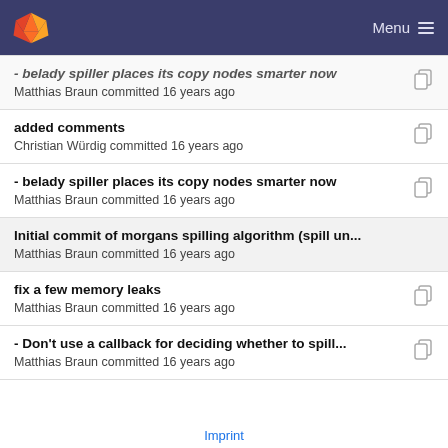Menu
- belady spiller places its copy nodes smarter now
Matthias Braun committed 16 years ago
added comments
Christian Würdig committed 16 years ago
- belady spiller places its copy nodes smarter now
Matthias Braun committed 16 years ago
Initial commit of morgans spilling algorithm (spill un...
Matthias Braun committed 16 years ago
fix a few memory leaks
Matthias Braun committed 16 years ago
- Don't use a callback for deciding whether to spill...
Matthias Braun committed 16 years ago
Imprint